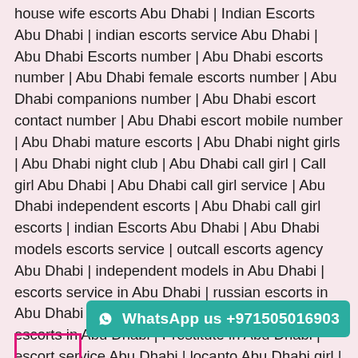house wife escorts Abu Dhabi | Indian Escorts Abu Dhabi | indian escorts service Abu Dhabi | Abu Dhabi Escorts number | Abu Dhabi escorts number | Abu Dhabi female escorts number | Abu Dhabi companions number | Abu Dhabi escort contact number | Abu Dhabi escort mobile number | Abu Dhabi mature escorts | Abu Dhabi night girls | Abu Dhabi night club | Abu Dhabi call girl | Call girl Abu Dhabi | Abu Dhabi call girl service | Abu Dhabi independent escorts | Abu Dhabi call girl escorts | indian Escorts Abu Dhabi | Abu Dhabi models escorts service | outcall escorts agency Abu Dhabi | independent models in Abu Dhabi | escorts service in Abu Dhabi | russian escorts in Abu Dhabi | cheap escorts Abu Dhabi | Vip escorts in Abu Dhabi | Prostitute in Abu Dhabi | escort service Abu Dhabi | locanto Abu Dhabi girl | cheap escort in Abu Dhabi | personal service in Abu Dhabi | booking girl Abu Dhabi
WhatsApp us +971505016903